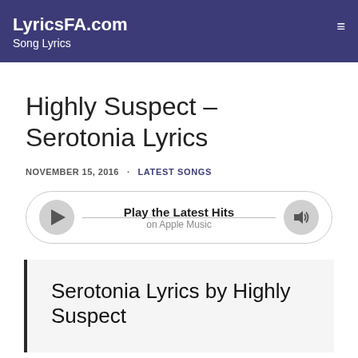LyricsFA.com
Song Lyrics
Highly Suspect – Serotonia Lyrics
NOVEMBER 15, 2016 · LATEST SONGS
[Figure (other): Music player bar with play button, 'Play the Latest Hits on Apple Music' text, and volume button]
Serotonia Lyrics by Highly Suspect